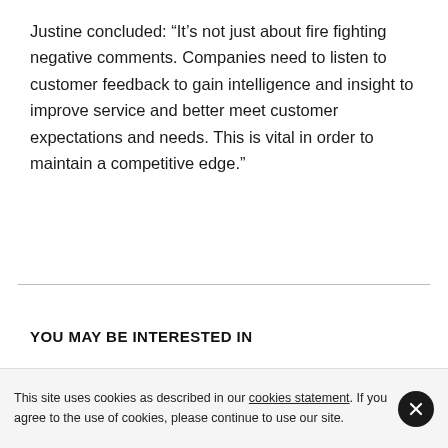Justine concluded: “It’s not just about fire fighting negative comments. Companies need to listen to customer feedback to gain intelligence and insight to improve service and better meet customer expectations and needs. This is vital in order to maintain a competitive edge.”
YOU MAY BE INTERESTED IN
This site uses cookies as described in our cookies statement. If you agree to the use of cookies, please continue to use our site.